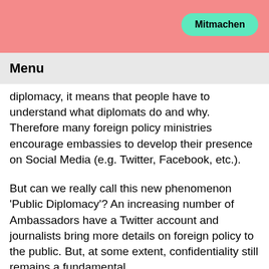Mitmachen
Menu
diplomacy, it means that people have to understand what diplomats do and why. Therefore many foreign policy ministries encourage embassies to develop their presence on Social Media (e.g. Twitter, Facebook, etc.).
But can we really call this new phenomenon ‘Public Diplomacy’? An increasing number of Ambassadors have a Twitter account and journalists bring more details on foreign policy to the public. But, at some extent, confidentiality still remains a fundamental